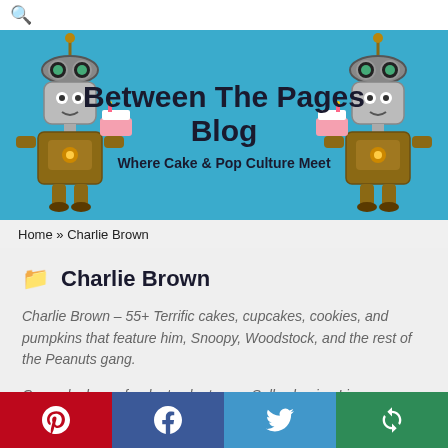Between The Pages Blog – Where Cake & Pop Culture Meet
Home » Charlie Brown
Charlie Brown
Charlie Brown – 55+ Terrific cakes, cupcakes, cookies, and pumpkins that feature him, Snoopy, Woodstock, and the rest of the Peanuts gang.
One cake has a fondant cake topper Sally chasing Linus.
Other cakes have Snoopy's and his dog house on top of the